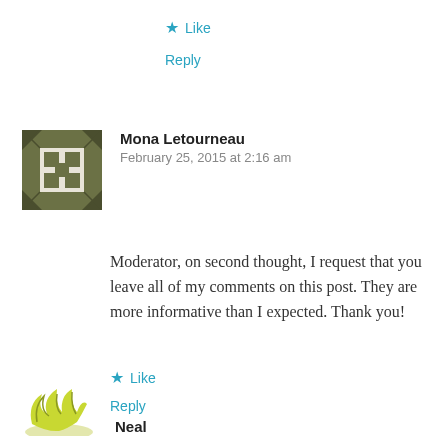★ Like
Reply
[Figure (illustration): Mosaic/quilt pattern avatar for Mona Letourneau, olive/dark green geometric pattern]
Mona Letourneau
February 25, 2015 at 2:16 am
Moderator, on second thought, I request that you leave all of my comments on this post. They are more informative than I expected. Thank you!
★ Like
Reply
[Figure (illustration): Yellow-green leaf/flame pattern avatar for Neal]
Neal